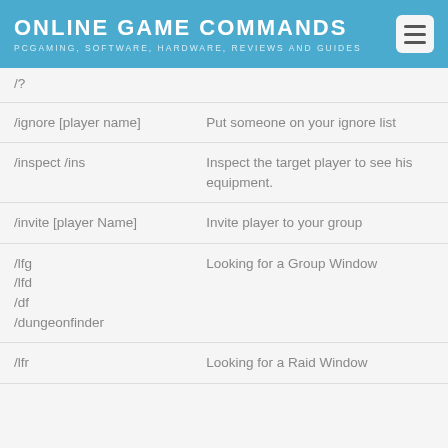ONLINE GAME COMMANDS
PCGAMING, SOFTWARE, HARDWARE, REVIEWS AND GUIDES
| Command | Description |
| --- | --- |
| /? |  |
| /ignore [player name] | Put someone on your ignore list |
| /inspect /ins | Inspect the target player to see his equipment. |
| /invite [player Name] | Invite player to your group |
| /lfg
/lfd
/df
/dungeonfinder | Looking for a Group Window |
| /lfr | Looking for a Raid Window |